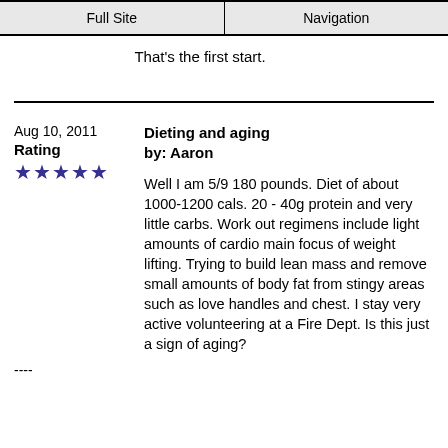Full Site | Navigation
That's the first start.
Aug 10, 2011
Rating
★★★★★
Dieting and aging
by: Aaron
Well I am 5/9 180 pounds. Diet of about 1000-1200 cals. 20 - 40g protein and very little carbs. Work out regimens include light amounts of cardio main focus of weight lifting. Trying to build lean mass and remove small amounts of body fat from stingy areas such as love handles and chest. I stay very active volunteering at a Fire Dept. Is this just a sign of aging?
----